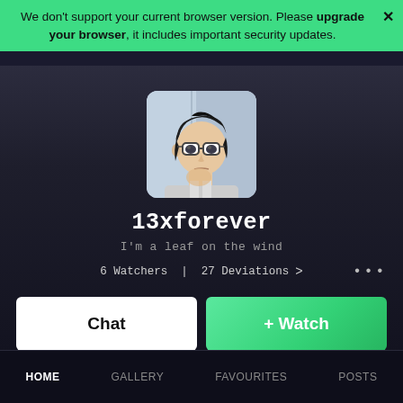We don't support your current browser version. Please upgrade your browser, it includes important security updates.
[Figure (illustration): Anime-style avatar of a young man with dark hair, glasses, and a contemplative pose against a light blue-grey background. Rounded square frame.]
13xforever
I'm a leaf on the wind
6 Watchers | 27 Deviations >
Chat
+ Watch
HOME   GALLERY   FAVOURITES   POSTS